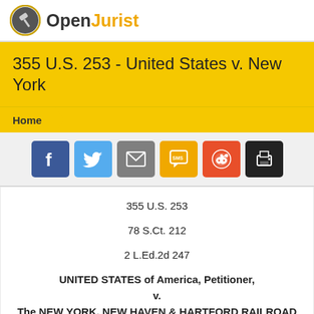[Figure (logo): OpenJurist logo with gavel icon in circle and text 'OpenJurist' with 'Open' in dark grey and 'Jurist' in amber/gold]
355 U.S. 253 - United States v. New York
Home
[Figure (infographic): Social sharing buttons row: Facebook (blue), Twitter (light blue), Email (grey), SMS (amber), Reddit (orange-red), Print (black)]
355 U.S. 253
78 S.Ct. 212
2 L.Ed.2d 247
UNITED STATES of America, Petitioner,
v.
The NEW YORK, NEW HAVEN & HARTFORD RAILROAD COMPANY.
No. 45.